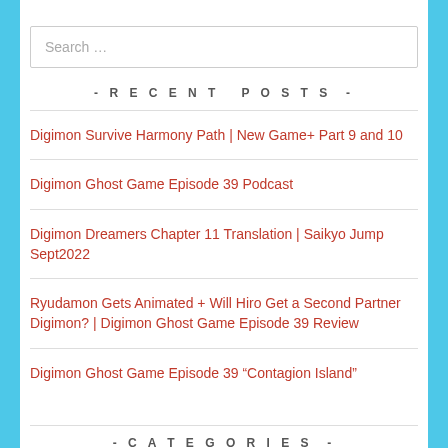Search …
- RECENT POSTS -
Digimon Survive Harmony Path | New Game+ Part 9 and 10
Digimon Ghost Game Episode 39 Podcast
Digimon Dreamers Chapter 11 Translation | Saikyo Jump Sept2022
Ryudamon Gets Animated + Will Hiro Get a Second Partner Digimon? | Digimon Ghost Game Episode 39 Review
Digimon Ghost Game Episode 39 “Contagion Island”
- CATEGORIES -